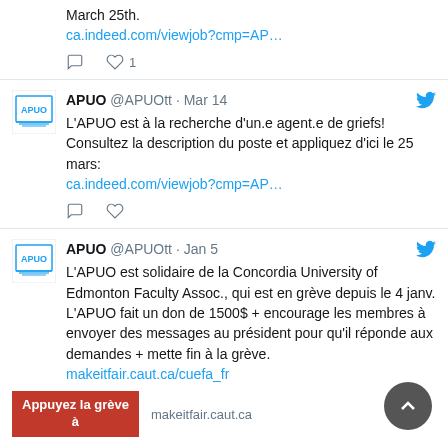March 25th.
ca.indeed.com/viewjob?cmp=AP…
[Figure (screenshot): Tweet action icons: comment and heart with count 1]
[Figure (screenshot): APUO Twitter profile picture (logo with books)]
APUO @APUOtt · Mar 14
L'APUO est à la recherche d'un.e agent.e de griefs! Consultez la description du poste et appliquez d'ici le 25 mars:
ca.indeed.com/viewjob?cmp=AP…
[Figure (screenshot): Tweet action icons: comment and heart]
[Figure (screenshot): APUO Twitter profile picture (logo with books)]
APUO @APUOtt · Jan 5
L'APUO est solidaire de la Concordia University of Edmonton Faculty Assoc., qui est en grève depuis le 4 janv. L'APUO fait un don de 1500$ + encourage les membres à envoyer des messages au président pour qu'il réponde aux demandes + mette fin à la grève. makeitfair.caut.ca/cuefa_fr
[Figure (screenshot): Promotional banner: red box reading 'Appuyez la grève à' and URL makeitfair.caut.ca]